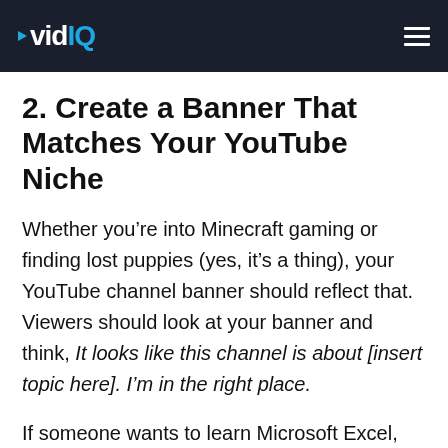vidIQ
2. Create a Banner That Matches Your YouTube Niche
Whether you’re into Minecraft gaming or finding lost puppies (yes, it’s a thing), your YouTube channel banner should reflect that. Viewers should look at your banner and think, It looks like this channel is about [insert topic here]. I’m in the right place.
If someone wants to learn Microsoft Excel, for example, the imagery in your banner has to match that desire. You might add a tiny